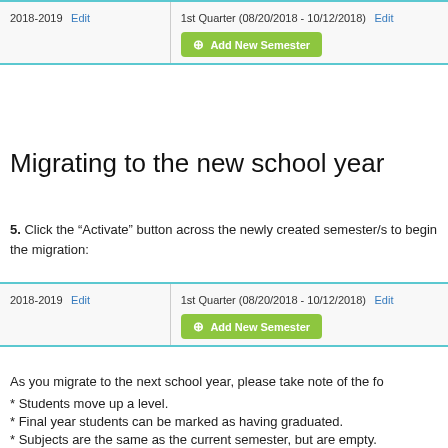[Figure (screenshot): Table showing school year 2018-2019 with Edit link, and 1st Quarter (08/20/2018 - 10/12/2018) with Edit link and Add New Semester button]
Migrating to the new school year
5. Click the “Activate” button across the newly created semester/s to begin the migration:
[Figure (screenshot): Table showing school year 2018-2019 with Edit link, and 1st Quarter (08/20/2018 - 10/12/2018) with Edit link and Add New Semester button]
As you migrate to the next school year, please take note of the fo
* Students move up a level.
* Final year students can be marked as having graduated.
* Subjects are the same as the current semester, but are empty.
* Enroll students in subjects after creating the semester.
* Changes can be made on a student-by-student basis after the